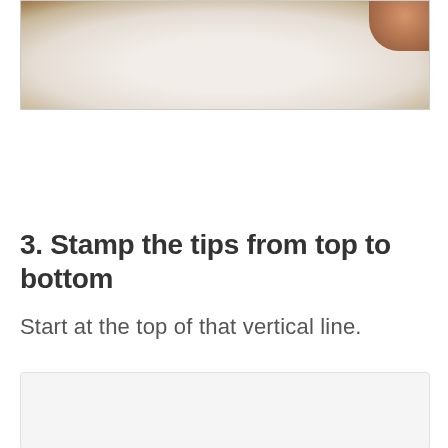[Figure (photo): Close-up photo of hands working with what appears to be a circular frame or hoop with white paper or fabric, set against a wooden surface. A thumb is visible in the upper right corner.]
3. Stamp the tips from top to bottom
Start at the top of that vertical line.
[Figure (photo): Partially visible photo at the bottom of the page, showing a light gray/white background, content mostly cut off.]